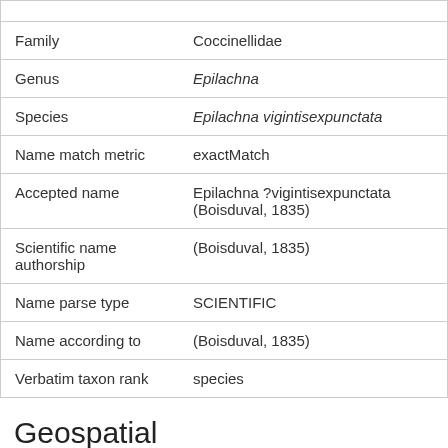| Field | Value |
| --- | --- |
| Family | Coccinellidae |
| Genus | Epilachna |
| Species | Epilachna vigintisexpunctata |
| Name match metric | exactMatch |
| Accepted name | Epilachna ?vigintisexpunctata (Boisduval, 1835) |
| Scientific name authorship | (Boisduval, 1835) |
| Name parse type | SCIENTIFIC |
| Name according to | (Boisduval, 1835) |
| Verbatim taxon rank | species |
Geospatial
| Field | Value |
| --- | --- |
| Country | Australia |
| State / Territory | New South Wales |